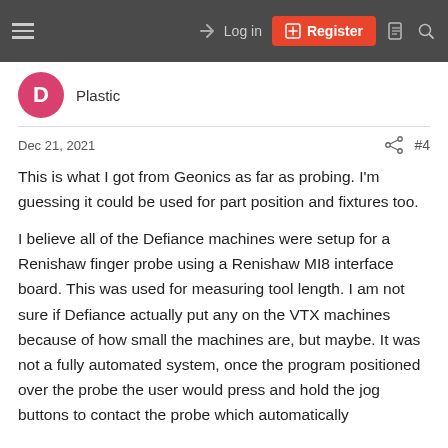Log in | Register
Plastic
Dec 21, 2021  #4
This is what I got from Geonics as far as probing. I'm guessing it could be used for part position and fixtures too.
I believe all of the Defiance machines were setup for a Renishaw finger probe using a Renishaw MI8 interface board. This was used for measuring tool length. I am not sure if Defiance actually put any on the VTX machines because of how small the machines are, but maybe. It was not a fully automated system, once the program positioned over the probe the user would press and hold the jog buttons to contact the probe which automatically